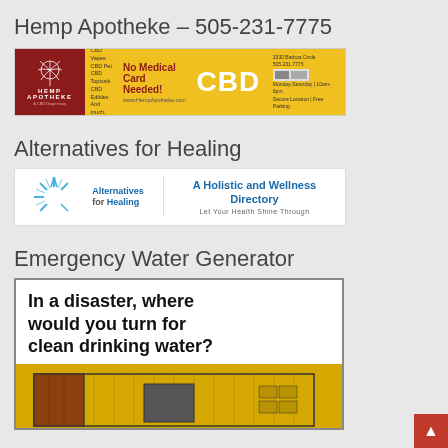Hemp Apotheke – 505-231-7775
[Figure (infographic): Hemp Apotheke CBD advertisement banner with red left panel showing logo, yellow center with product list and 'No Medical Card Needed!' text, large CBD letters, and right panel with address and hours: 3330 Barbino Circle, 505.231.7775, Monday-Saturday 10am-6pm, www.HempApotheke.com]
Alternatives for Healing
[Figure (infographic): Alternatives for Healing advertisement banner showing logo with sunburst rays and text 'Alternatives for Healing' in blue, with tagline 'A Holistic and Wellness Directory – Let Your Health Shine Through']
Emergency Water Generator
[Figure (infographic): Emergency Water Generator advertisement showing text 'In a disaster, where would you turn for clean drinking water?' with an image of a yellow shipping container water generator unit below]